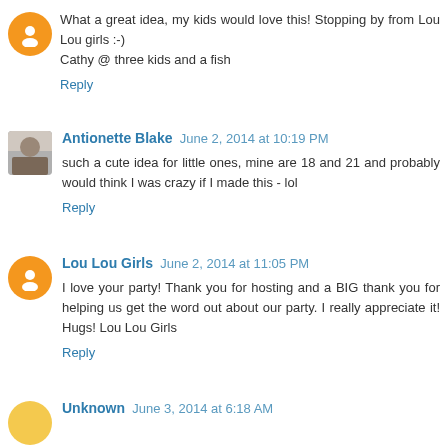What a great idea, my kids would love this! Stopping by from Lou Lou girls :-)
Cathy @ three kids and a fish
Reply
Antionette Blake  June 2, 2014 at 10:19 PM
such a cute idea for little ones, mine are 18 and 21 and probably would think I was crazy if I made this - lol
Reply
Lou Lou Girls  June 2, 2014 at 11:05 PM
I love your party! Thank you for hosting and a BIG thank you for helping us get the word out about our party. I really appreciate it! Hugs! Lou Lou Girls
Reply
Unknown  June 3, 2014 at 6:18 AM